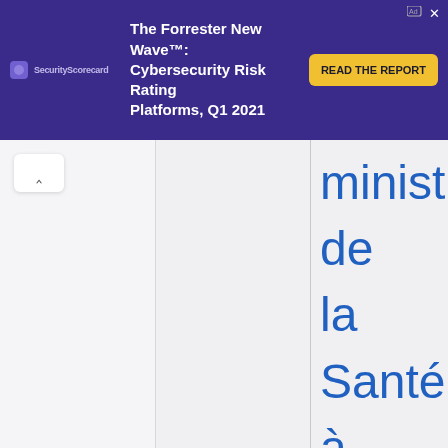[Figure (screenshot): Advertisement banner for SecurityScorecard — The Forrester New Wave™: Cybersecurity Risk Rating Platforms, Q1 2021, with a yellow 'READ THE REPORT' button on a dark purple background.]
[Figure (screenshot): Web page screenshot showing a navigation/TOC panel on the left with an up-arrow scroll button, a vertical divider, and large blue French text on the right reading: 'minist de la Santé à AbuDh à partici aux essais']
minist de la Santé à AbuDh à partici aux essais